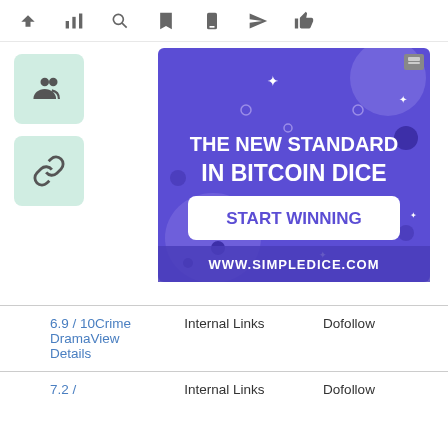toolbar with navigation icons: up arrow, bar chart, search, bookmark, phone, send, thumbs up
[Figure (illustration): Two mint-green icon buttons: one showing a group/people icon and one showing a link/chain icon]
[Figure (screenshot): Bitcoin dice advertisement banner. Purple background with decorative elements. Text reads: THE NEW STANDARD IN BITCOIN DICE. Button: START WINNING. URL: WWW.SIMPLEDICE.COM]
| 6.9 / 10Crime DramaView Details | Internal Links | Dofollow |
| 7.2 / | Internal Links | Dofollow |